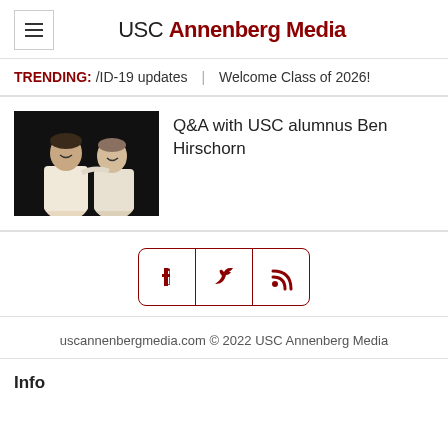USC Annenberg Media
TRENDING: /ID-19 updates | Welcome Class of 2026!
[Figure (photo): Two young men in white shirts posing together on a dark stage]
Q&A with USC alumnus Ben Hirschorn
[Figure (infographic): Social media icons: Facebook, Twitter, RSS feed in a rounded rectangle border]
uscannenbergmedia.com © 2022 USC Annenberg Media
Info